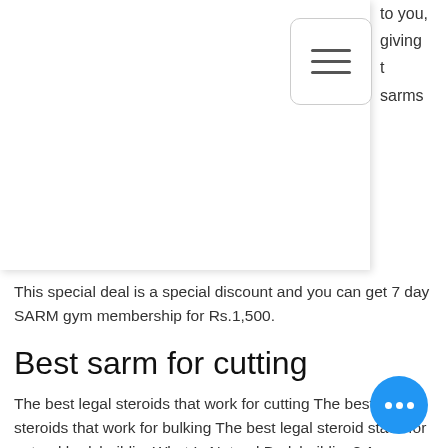[Figure (screenshot): White dropdown/menu overlay panel with hamburger button (three horizontal lines icon) and partial text visible at top right including 'to you,', 'giving', 't', 'sarms']
This special deal is a special discount and you can get 7 day SARM gym membership for Rs.1,500.
Best sarm for cutting
The best legal steroids that work for cutting The best legal steroids that work for bulking The best legal steroid stack for natural bodybuildingWhat Is Natural Bodybuilding? As you may have noticed from the list above, this article covers a lot of the basics of what natural bodybuilding is… but before I begin I have an additional recommendation.
There's no point in using a steroid if it makes you gain weight instead of losing it.